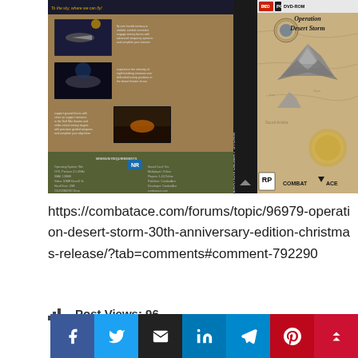[Figure (photo): PC DVD-ROM game box art for 'Operation Desert Storm' by CombatAce. The cover shows military jets over a desert map background. Left side shows gameplay screenshots on a sandy/camouflage background. A spine reads 'Operation Desert Storm'. Right front cover shows an F-15 jet over a Middle East map with the game logo and RP rating badge.]
https://combatace.com/forums/topic/96979-operation-desert-storm-30th-anniversary-edition-christmas-release/?tab=comments#comment-792290
Post Views: 96